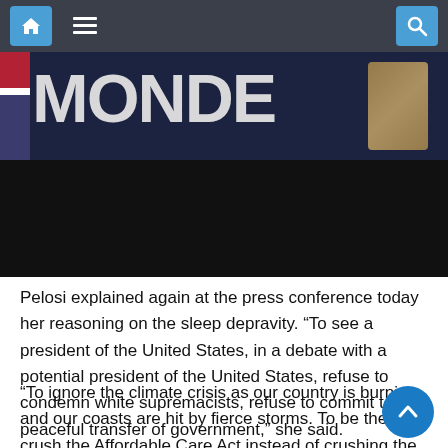Navigation bar with home, menu, and search icons
[Figure (photo): Partial view of a news website header/banner image with dark blue background showing partial text and figures, with a black strip below]
Pelosi explained again at the press conference today her reasoning on the sleep depravity. “To see a president of the United States, in a debate with a potential president of the United States, refuse to condemn white supremacists, refuse to commit to a peaceful transfer of government,” she said.
“To ignore the climate crisis as our country is burning and our coasts are hit by fierce storms. To be there to crush the Affordable Care Act instead of crushing the virus,” Pelosi added.
Later, Pelosi praised Biden and further opined her